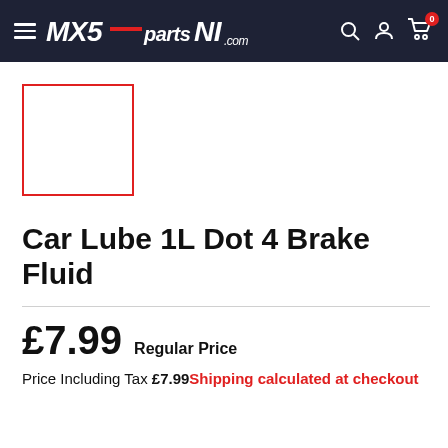MX5partsNI.com
[Figure (photo): Product thumbnail image placeholder with red border]
Car Lube 1L Dot 4 Brake Fluid
£7.99  Regular Price
Price Including Tax £7.99 Shipping calculated at checkout